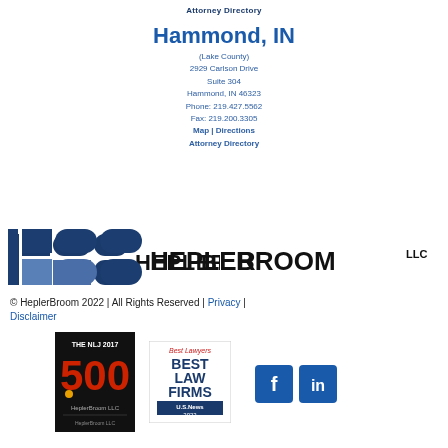Attorney Directory
Hammond, IN
(Lake County)
2929 Carlson Drive
Suite 304
Hammond, IN 46323
Phone: 219.427.5562
Fax: 219.200.3305
Map | Directions
Attorney Directory
[Figure (logo): HeplerBroom LLC law firm logo with dark blue block H-B graphic mark and HEPLERBROOM LLC text]
© HeplerBroom 2022 | All Rights Reserved | Privacy | Disclaimer
[Figure (infographic): THE NLJ 2017 500 badge — HeplerBroom LLC, black background with red 500]
[Figure (infographic): Best Lawyers BEST LAW FIRMS US News 2022 badge]
[Figure (infographic): Facebook and LinkedIn social media icon buttons in dark blue]